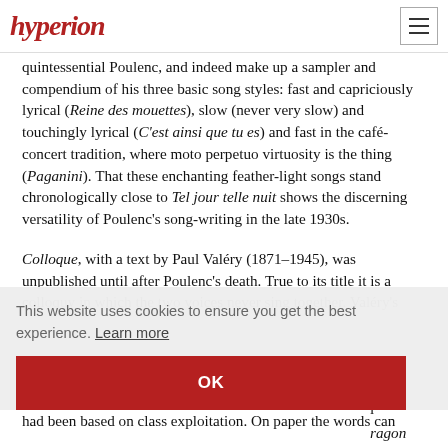hyperion
quintessential Poulenc, and indeed make up a sampler and compendium of his three basic song styles: fast and capriciously lyrical (Reine des mouettes), slow (never very slow) and touchingly lyrical (C'est ainsi que tu es) and fast in the café-concert tradition, where moto perpetuo virtuosity is the thing (Paganini). That these enchanting feather-light songs stand chronologically close to Tel jour telle nuit shows the discerning versatility of Poulenc's song-writing in the late 1930s.
Colloque, with a text by Paul Valéry (1871–1945), was unpublished until after Poulenc's death. True to its title it is a colloquy in which the two voices never sing together. Valéry's
aud, e and l ragon — as the n that
had been based on class exploitation. On paper the words can